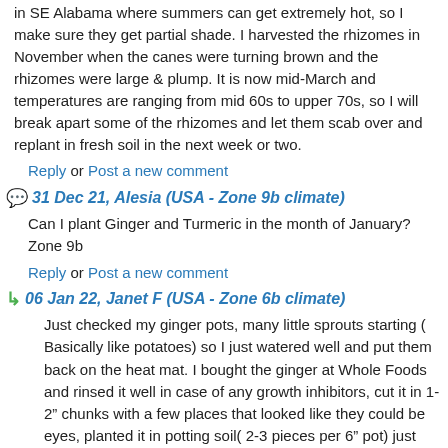in SE Alabama where summers can get extremely hot, so I make sure they get partial shade. I harvested the rhizomes in November when the canes were turning brown and the rhizomes were large & plump. It is now mid-March and temperatures are ranging from mid 60s to upper 70s, so I will break apart some of the rhizomes and let them scab over and replant in fresh soil in the next week or two.
Reply or Post a new comment
31 Dec 21, Alesia (USA - Zone 9b climate)
Can I plant Ginger and Turmeric in the month of January? Zone 9b
Reply or Post a new comment
06 Jan 22, Janet F (USA - Zone 6b climate)
Just checked my ginger pots, many little sprouts starting ( Basically like potatoes) so I just watered well and put them back on the heat mat. I bought the ginger at Whole Foods and rinsed it well in case of any growth inhibitors, cut it in 1-2" chunks with a few places that looked like they could be eyes, planted it in potting soil( 2-3 pieces per 6" pot) just barely covered and watered , put on heat mat with plastic wrap over since our house is old and drafty. But in zone 9 you may have a long enough growing time, I don't so figured they'd need a head start.